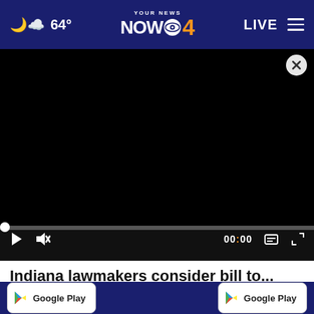64° YOUR NEWS NOW CBS 4 | LIVE
[Figure (screenshot): Black video player area with a close (X) button in the top right corner]
[Figure (screenshot): Video player controls bar: play button, mute button, time display 00:00, subtitles button, fullscreen button. Progress bar with white dot at start.]
Indiana lawmakers consider bill to...
Google Play | Google Play